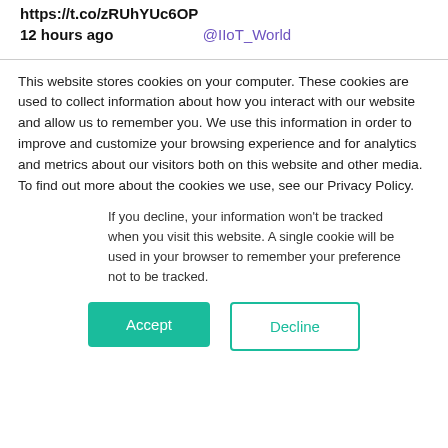https://t.co/zRUhYUc6OP
12 hours ago
@IIoT_World
This website stores cookies on your computer. These cookies are used to collect information about how you interact with our website and allow us to remember you. We use this information in order to improve and customize your browsing experience and for analytics and metrics about our visitors both on this website and other media. To find out more about the cookies we use, see our Privacy Policy.
If you decline, your information won’t be tracked when you visit this website. A single cookie will be used in your browser to remember your preference not to be tracked.
Accept
Decline